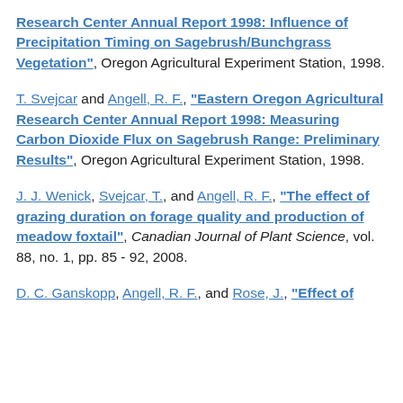Research Center Annual Report 1998: Influence of Precipitation Timing on Sagebrush/Bunchgrass Vegetation", Oregon Agricultural Experiment Station, 1998.
T. Svejcar and Angell, R. F., "Eastern Oregon Agricultural Research Center Annual Report 1998: Measuring Carbon Dioxide Flux on Sagebrush Range: Preliminary Results", Oregon Agricultural Experiment Station, 1998.
J. J. Wenick, Svejcar, T., and Angell, R. F., "The effect of grazing duration on forage quality and production of meadow foxtail", Canadian Journal of Plant Science, vol. 88, no. 1, pp. 85 - 92, 2008.
D. C. Ganskopp, Angell, R. F., and Rose, J., "Effect of